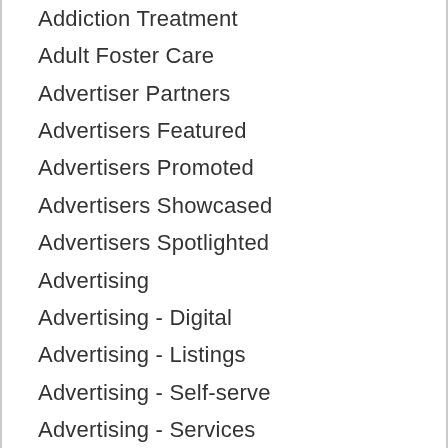Addiction Treatment
Adult Foster Care
Advertiser Partners
Advertisers Featured
Advertisers Promoted
Advertisers Showcased
Advertisers Spotlighted
Advertising
Advertising - Digital
Advertising - Listings
Advertising - Self-serve
Advertising - Services
Advertising Agencies
Advertising Online
Advertising Products